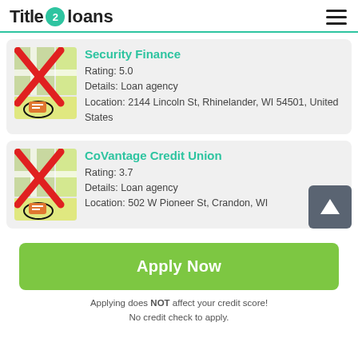Title 2 loans
[Figure (screenshot): Map thumbnail with red X overlay and location pin icon for Security Finance]
Security Finance
Rating: 5.0
Details: Loan agency
Location: 2144 Lincoln St, Rhinelander, WI 54501, United States
[Figure (screenshot): Map thumbnail with red X overlay and location pin icon for CoVantage Credit Union]
CoVantage Credit Union
Rating: 3.7
Details: Loan agency
Location: 502 W Pioneer St, Crandon, WI
Apply Now
Applying does NOT affect your credit score!
No credit check to apply.